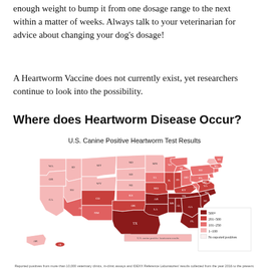enough weight to bump it from one dosage range to the next within a matter of weeks. Always talk to your veterinarian for advice about changing your dog's dosage!
A Heartworm Vaccine does not currently exist, yet researchers continue to look into the possibility.
Where does Heartworm Disease Occur?
[Figure (map): U.S. Canine Positive Heartworm Test Results — choropleth map of the United States showing heartworm positive test results by state, color-coded from light pink (1-100) to dark red (500+). States in the Southeast and South-Central regions show the highest concentrations (dark red 500+). Legend shows: 500+ (dark red), 201-500 (medium red), 101-250 (light red/pink), 1-100 (very light pink), No reported positives (white).]
Reported positives from more than 10,000 veterinary clinics, in-clinic assays and IDEXX Reference Laboratories' results collected from the year 2016 to the present.